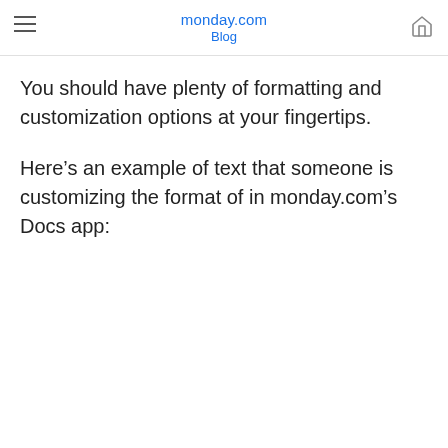monday.com Blog
You should have plenty of formatting and customization options at your fingertips.
Here’s an example of text that someone is customizing the format of in monday.com’s Docs app: